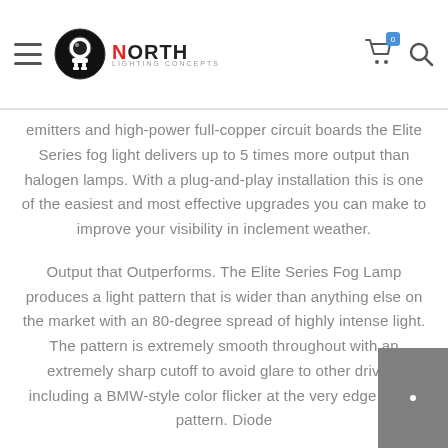North Lighting Concepts
emitters and high-power full-copper circuit boards the Elite Series fog light delivers up to 5 times more output than halogen lamps. With a plug-and-play installation this is one of the easiest and most effective upgrades you can make to improve your visibility in inclement weather.
Output that Outperforms. The Elite Series Fog Lamp produces a light pattern that is wider than anything else on the market with an 80-degree spread of highly intense light. The pattern is extremely smooth throughout with an extremely sharp cutoff to avoid glare to other drivers including a BMW-style color flicker at the very edge of the pattern. Diode